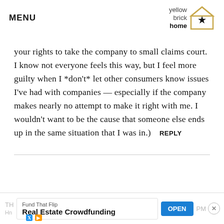MENU | yellow brick home logo
your rights to take the company to small claims court. I know not everyone feels this way, but I feel more guilty when I *don't* let other consumers know issues I've had with companies — especially if the company makes nearly no attempt to make it right with me. I wouldn't want to be the cause that someone else ends up in the same situation that I was in.)  REPLY
Fund That Flip | Real Estate Crowdfunding | OPEN